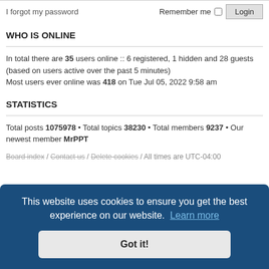I forgot my password   Remember me □   Login
WHO IS ONLINE
In total there are 35 users online :: 6 registered, 1 hidden and 28 guests (based on users active over the past 5 minutes)
Most users ever online was 418 on Tue Jul 05, 2022 9:58 am
STATISTICS
Total posts 1075978 • Total topics 38230 • Total members 9237 • Our newest member MrPPT
Board index / Contact us / Delete cookies / All times are UTC-04:00
This website uses cookies to ensure you get the best experience on our website. Learn more
Got it!